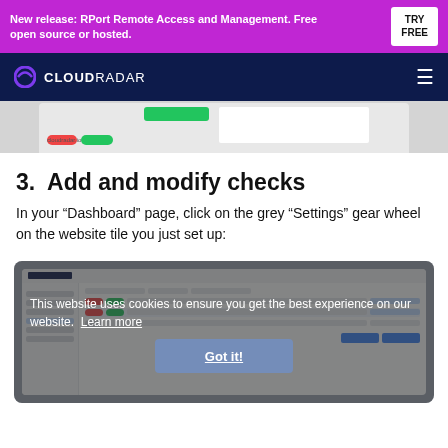New release: RPort Remote Access and Management. Free open source or hosted. TRY FREE
CLOUDRADAR
[Figure (screenshot): Partial screenshot of CloudRadar dashboard showing a website monitoring tile with green status bar, alert and OK pills, and cloudradar.io domain label]
3.  Add and modify checks
In your “Dashboard” page, click on the grey “Settings” gear wheel on the website tile you just set up:
[Figure (screenshot): Screenshot of CloudRadar dashboard with a cookie consent overlay reading 'This website uses cookies to ensure you get the best experience on our website. Learn more' and a 'Got it!' button]